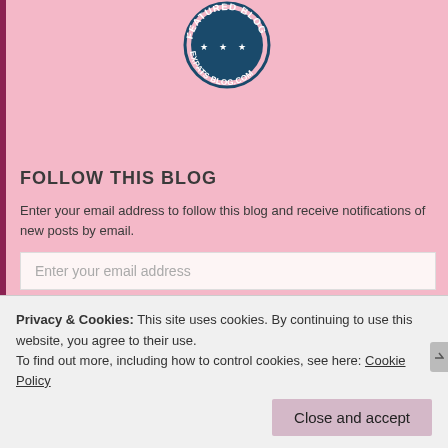[Figure (logo): Featured Blog stamp/badge from expatsblog.com — circular dark blue stamp design with text FEATURED BLOG and EXPATS BLOG.COM with stars]
FOLLOW THIS BLOG
Enter your email address to follow this blog and receive notifications of new posts by email.
Enter your email address
Follow
ARCHIVES
Privacy & Cookies: This site uses cookies. By continuing to use this website, you agree to their use.
To find out more, including how to control cookies, see here: Cookie Policy
Close and accept